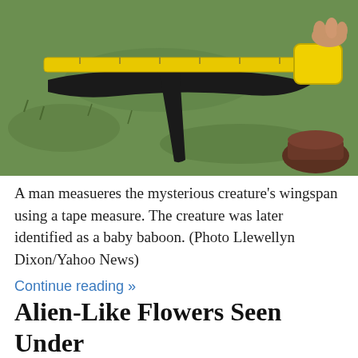[Figure (photo): A dark, winged creature (later identified as a baby baboon) lying on grass, being measured with a yellow tape measure. A person's hand holds one end of the tape, and a boot is visible in the lower right corner.]
A man measueres the mysterious creature's wingspan using a tape measure. The creature was later identified as a baby baboon. (Photo Llewellyn Dixon/Yahoo News)
Continue reading »
Alien-Like Flowers Seen Under